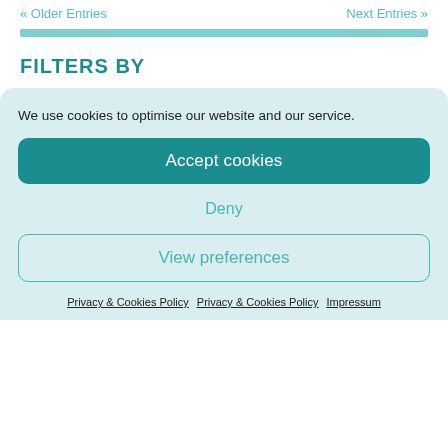« Older Entries   Next Entries »
FILTERS BY
We use cookies to optimise our website and our service.
Accept cookies
Deny
View preferences
Privacy & Cookies Policy  Privacy & Cookies Policy  Impressum